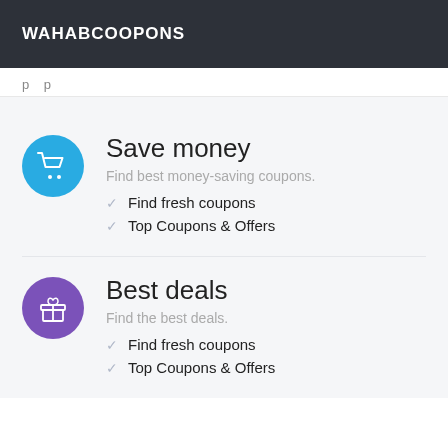WAHABCOOPONS
p p
Save money
Find best money-saving coupons.
Find fresh coupons
Top Coupons & Offers
Best deals
Find the best deals.
Find fresh coupons
Top Coupons & Offers